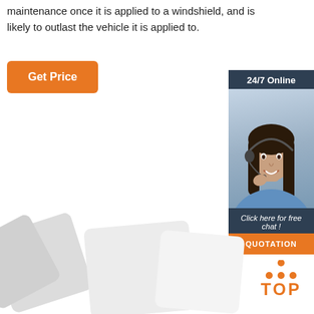maintenance once it is applied to a windshield, and is likely to outlast the vehicle it is applied to.
[Figure (other): Orange 'Get Price' button]
[Figure (other): 24/7 Online chat widget with photo of woman with headset, 'Click here for free chat!' text, and orange QUOTATION button]
[Figure (other): Fanned white/grey cards at bottom of page]
[Figure (logo): Orange 'TOP' badge with dot triangle above text]